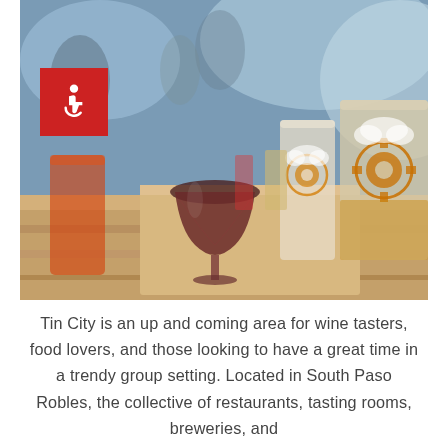[Figure (photo): Outdoor brewery/winery setting showing beer glasses and branded pint glasses on a wooden table, with a red accessibility icon badge in the upper left corner of the image.]
Tin City is an up and coming area for wine tasters, food lovers, and those looking to have a great time in a trendy group setting. Located in South Paso Robles, the collective of restaurants, tasting rooms, breweries, and